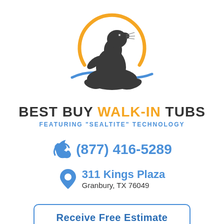[Figure (logo): Best Buy Walk-In Tubs logo featuring a sea lion silhouette with orange arc sun behind it and blue wave below, with brand name text]
(877) 416-5289
311 Kings Plaza
Granbury, TX 76049
Receive Free Estimate